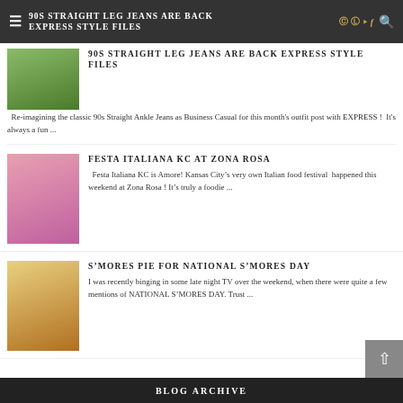90S STRAIGHT LEG JEANS ARE BACK EXPRESS STYLE FILES
90S STRAIGHT LEG JEANS ARE BACK EXPRESS STYLE FILES
Re-imagining the classic 90s Straight Ankle Jeans as Business Casual for this month's outfit post with EXPRESS ! It's always a fun ...
FESTA ITALIANA KC AT ZONA ROSA
Festa Italiana KC is Amore! Kansas City's very own Italian food festival happened this weekend at Zona Rosa ! It's truly a foodie ...
S'MORES PIE FOR NATIONAL S'MORES DAY
I was recently binging in some late night TV over the weekend, when there were quite a few mentions of NATIONAL S'MORES DAY. Trust ...
BLOG ARCHIVE